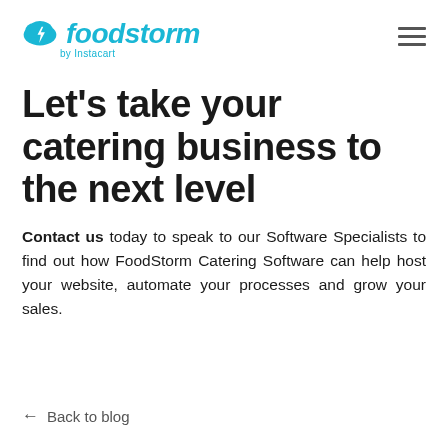foodstorm by Instacart
Let's take your catering business to the next level
Contact us today to speak to our Software Specialists to find out how FoodStorm Catering Software can help host your website, automate your processes and grow your sales.
← Back to blog